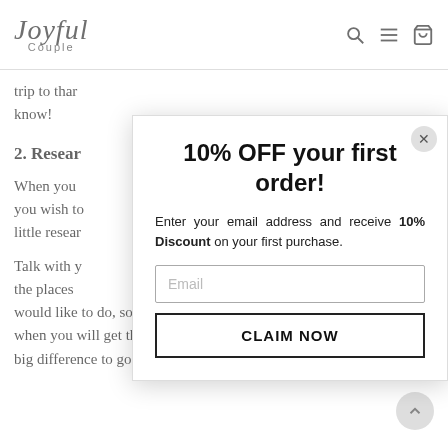Joyful Couple [logo with search, menu, cart icons]
trip to that know!
2. Resear
When you you wish to little resear
Talk with y the places would like to do, so you are on one pa when you will get there, because it is a big difference to go to a hiking trip or to
10% OFF your first order!
Enter your email address and receive 10% Discount on your first purchase.
Email
CLAIM NOW